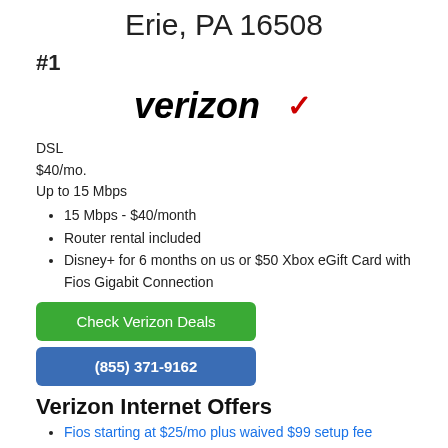Erie, PA 16508
#1
[Figure (logo): Verizon logo with red checkmark]
DSL
$40/mo.
Up to 15 Mbps
15 Mbps - $40/month
Router rental included
Disney+ for 6 months on us or $50 Xbox eGift Card with Fios Gigabit Connection
Check Verizon Deals
(855) 371-9162
Verizon Internet Offers
Fios starting at $25/mo plus waived $99 setup fee